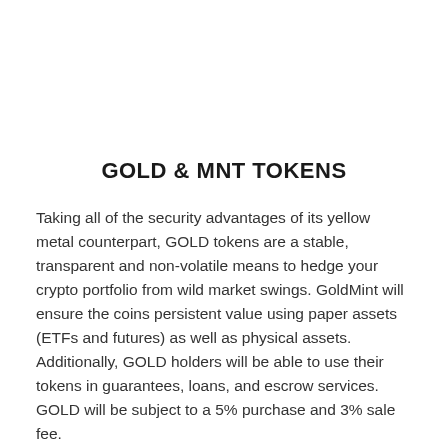GOLD & MNT TOKENS
Taking all of the security advantages of its yellow metal counterpart, GOLD tokens are a stable, transparent and non-volatile means to hedge your crypto portfolio from wild market swings. GoldMint will ensure the coins persistent value using paper assets (ETFs and futures) as well as physical assets. Additionally, GOLD holders will be able to use their tokens in guarantees, loans, and escrow services. GOLD will be subject to a 5% purchase and 3% sale fee.
GoldMint will also issue MNT tokens. It will use the